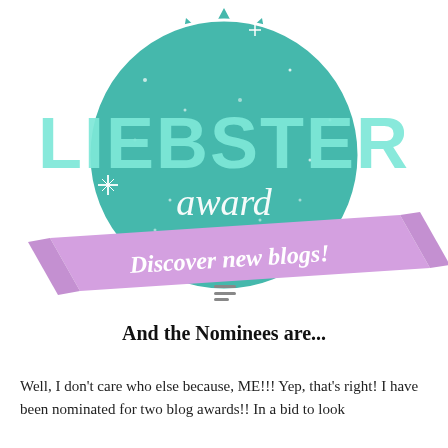[Figure (illustration): Liebster Award badge: a teal/turquoise starburst medallion with a circle inside. Large bold text 'LIEBSTER' in mint/light teal, script text 'award' below. A purple/lavender diagonal ribbon banner across the bottom reads 'Discover new blogs!' in white italic text. Background has sparkle/star effects.]
And the Nominees are...
Well, I don't care who else because, ME!!! Yep, that's right!  I have been nominated for two blog awards!!  In a bid to look